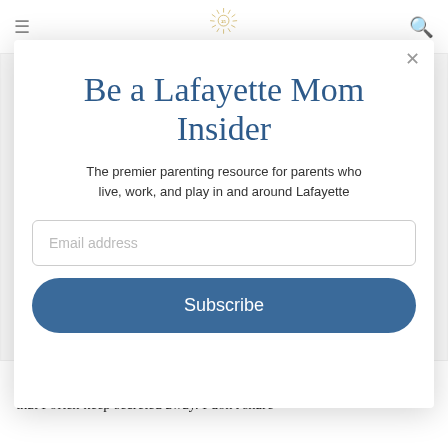Lafayette Mom — navigation bar with hamburger menu, logo, and search icon
Be a Lafayette Mom Insider
The premier parenting resource for parents who live, work, and play in and around Lafayette
Email address (input field)
Subscribe (button)
my heart shutters closed again. It is a part of me that I often keep secreted away. I don't share